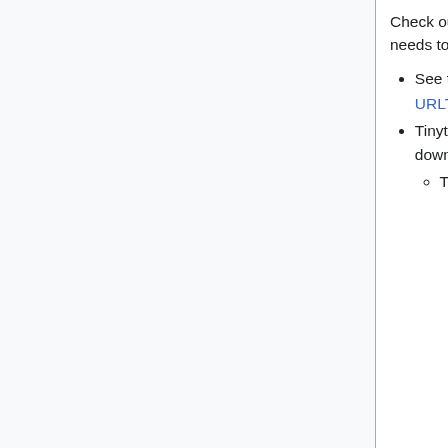Check out Audit2014 and help audit the archives. In particular, the stuff not on Internet Archive needs to be uploaded.
See the latest torrent release for URLs before Tinytown. A copy is available at URLTeamTorrentRelease2013July
Tinytown results are uploaded to the Internet Archive. They are incremental, so you will need to download them all to get all URLs. A (manually updated) list of all the torrents is available here.
They are formatted as follows:
Each IA item (which can be downloaded in full via BitTorrent or as a zip file) contains multiple zip files, named